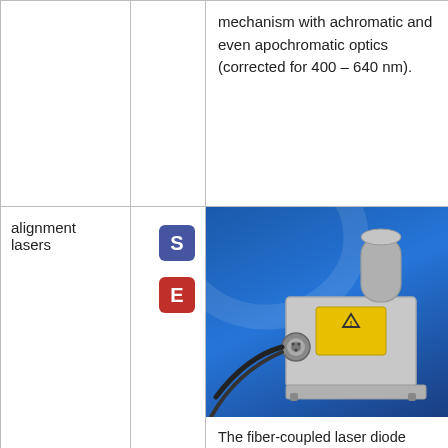mechanism with achromatic and even apochromatic optics (corrected for 400 – 640 nm).
alignment lasers
[Figure (photo): Photo of a fiber-coupled laser diode module (51nano-S type) — a silver metallic rectangular unit with a yellow warning label, fiber cable and multi-pin connector, mounted on a blue background.]
The fiber-coupled laser diode beam sources of type 51nano-S have reduced power noise (< 0.1% RMS (< 1 MHz)), reduced coherence length (≈ 300 μm) and a low speck